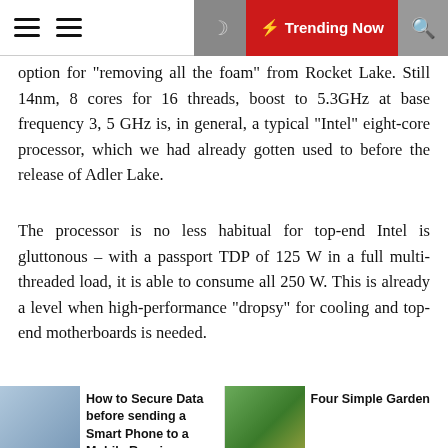Trending Now
option for “removing all the foam” from Rocket Lake. Still 14nm, 8 cores for 16 threads, boost to 5.3GHz at base frequency 3, 5 GHz is, in general, a typical “Intel” eight-core processor, which we had already gotten used to before the release of Adler Lake.
The processor is no less habitual for top-end Intel is gluttonous – with a passport TDP of 125 W in a full multi-threaded load, it is able to consume all 250 W. This is already a level when high-performance “dropsy” for cooling and top-end motherboards is needed.
Posted in  Tech
rahulpandey423@gmail.com
How to Secure Data before sending a Smart Phone to a Mobile Repair...
Four Simple Garden